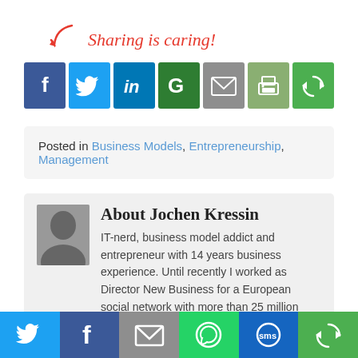[Figure (infographic): Sharing is caring! text with arrow and social media share buttons: Facebook, Twitter, LinkedIn, Google+, Email, Print, Share]
Posted in Business Models, Entrepreneurship, Management
About Jochen Kressin
IT-nerd, business model addict and entrepreneur with 14 years business experience. Until recently I worked as Director New Business for a European social network with more than 25 million users, at the moment I'm starting my own company. I hold an
[Figure (infographic): Bottom social share bar with Twitter, Facebook, Email, WhatsApp, SMS, Share icons]